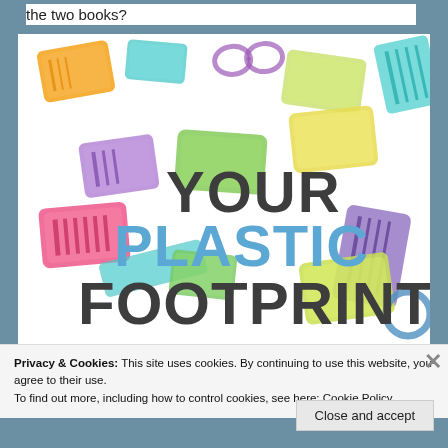the two books?
[Figure (illustration): Colorful plastic containers and storage boxes scattered across the image, with bold text overlay reading YOUR PLASTIC FOOTPRINT. YOUR and FOOTPRINT are in dark charcoal/grey, PLASTIC is in blue.]
Privacy & Cookies: This site uses cookies. By continuing to use this website, you agree to their use.
To find out more, including how to control cookies, see here: Cookie Policy
Close and accept